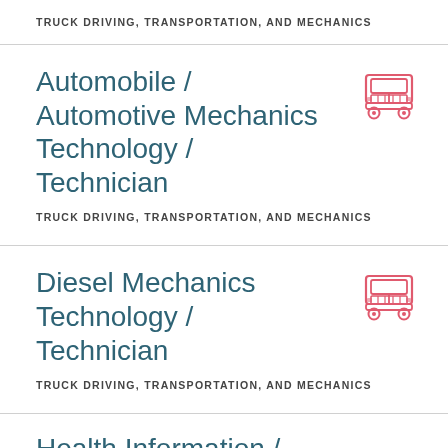TRUCK DRIVING, TRANSPORTATION, AND MECHANICS
Automobile / Automotive Mechanics Technology / Technician
TRUCK DRIVING, TRANSPORTATION, AND MECHANICS
[Figure (illustration): Red/pink icon of a truck (front view)]
Diesel Mechanics Technology / Technician
TRUCK DRIVING, TRANSPORTATION, AND MECHANICS
[Figure (illustration): Red/pink icon of a truck (front view)]
Health Information / Medical